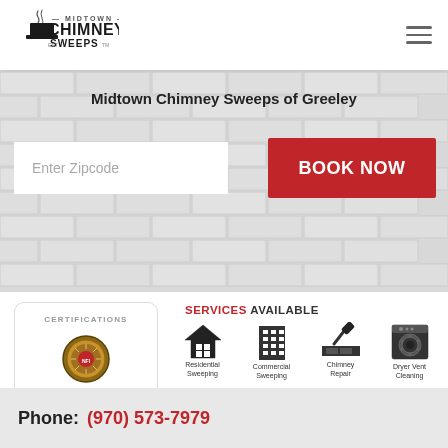[Figure (logo): Midtown Chimney Sweeps logo with top hat and smoke]
Midtown Chimney Sweeps of Greeley
Enter Zipcode
BOOK NOW
CERTIFICATIONS
[Figure (illustration): Certification badge/seal]
SERVICES AVAILABLE
[Figure (infographic): Four service icons: Residential Sweeping, Commercial Sweeping, Chimney Repair, Dryer Vent Cleaning]
Residential Sweeping
Commercial Sweeping
Chimney Repair
Dryer Vent Cleaning
Phone: (970) 573-7979